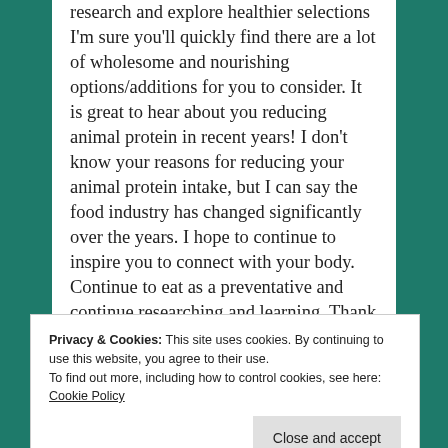research and explore healthier selections I'm sure you'll quickly find there are a lot of wholesome and nourishing options/additions for you to consider. It is great to hear about you reducing animal protein in recent years! I don't know your reasons for reducing your animal protein intake, but I can say the food industry has changed significantly over the years. I hope to continue to inspire you to connect with your body. Continue to eat as a preventative and continue researching and learning. Thank you again for stopping by and sorry for the delay in
Privacy & Cookies: This site uses cookies. By continuing to use this website, you agree to their use. To find out more, including how to control cookies, see here: Cookie Policy